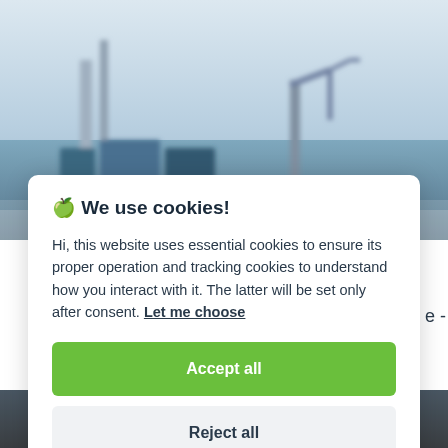[Figure (screenshot): Blurry industrial/port background showing cranes and shipping containers against a light grey-blue sky]
🍪 We use cookies!
Hi, this website uses essential cookies to ensure its proper operation and tracking cookies to understand how you interact with it. The latter will be set only after consent. Let me choose
Accept all
Reject all